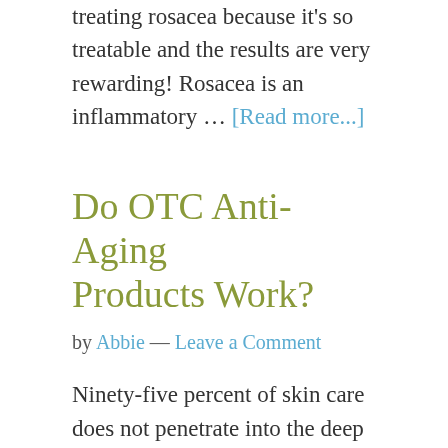treating rosacea because it's so treatable and the results are very rewarding! Rosacea is an inflammatory … [Read more...]
Do OTC Anti-Aging Products Work?
by Abbie — Leave a Comment
Ninety-five percent of skin care does not penetrate into the deep layers of the epidermis or dermis. If these "anti-aging" ingredients aren't even … [Read more...]